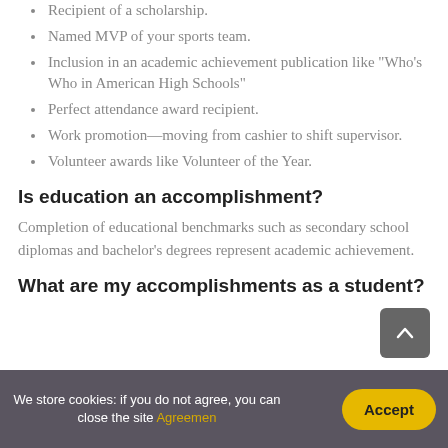Recipient of a scholarship.
Named MVP of your sports team.
Inclusion in an academic achievement publication like “Who’s Who in American High Schools”
Perfect attendance award recipient.
Work promotion—moving from cashier to shift supervisor.
Volunteer awards like Volunteer of the Year.
Is education an accomplishment?
Completion of educational benchmarks such as secondary school diplomas and bachelor’s degrees represent academic achievement.
What are my accomplishments as a student?
We store cookies: if you do not agree, you can close the site Agreemen
Accept